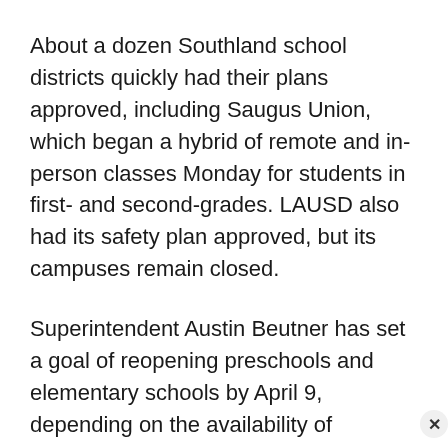About a dozen Southland school districts quickly had their plans approved, including Saugus Union, which began a hybrid of remote and in-person classes Monday for students in first- and second-grades. LAUSD also had its safety plan approved, but its campuses remain closed.
Superintendent Austin Beutner has set a goal of reopening preschools and elementary schools by April 9, depending on the availability of vaccines. But he said the district next week will again offer in-person instruction for special-needs students, as wel